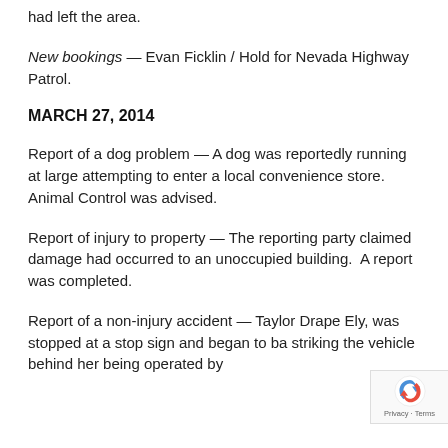had left the area.
New bookings — Evan Ficklin / Hold for Nevada Highway Patrol.
MARCH 27, 2014
Report of a dog problem — A dog was reportedly running at large attempting to enter a local convenience store.  Animal Control was advised.
Report of injury to property — The reporting party claimed damage had occurred to an unoccupied building.  A report was completed.
Report of a non-injury accident — Taylor Drape Ely, was stopped at a stop sign and began to ba striking the vehicle behind her being operated by